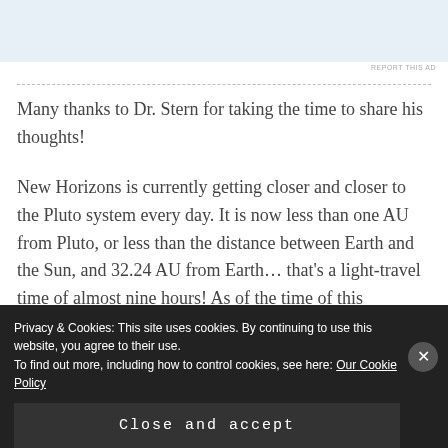[Figure (other): Advertisement banner area (light blue background)]
REPORT THIS AD
Many thanks to Dr. Stern for taking the time to share his thoughts!
New Horizons is currently getting closer and closer to the Pluto system every day. It is now less than one AU from Pluto, or less than the distance between Earth and the Sun, and 32.24 AU from Earth... that's a light-travel time of almost nine hours! As of the time of this
Privacy & Cookies: This site uses cookies. By continuing to use this website, you agree to their use.
To find out more, including how to control cookies, see here: Our Cookie Policy
Close and accept